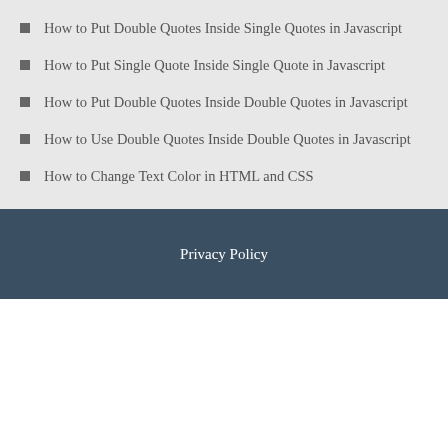How to Put Double Quotes Inside Single Quotes in Javascript
How to Put Single Quote Inside Single Quote in Javascript
How to Put Double Quotes Inside Double Quotes in Javascript
How to Use Double Quotes Inside Double Quotes in Javascript
How to Change Text Color in HTML and CSS
Privacy Policy